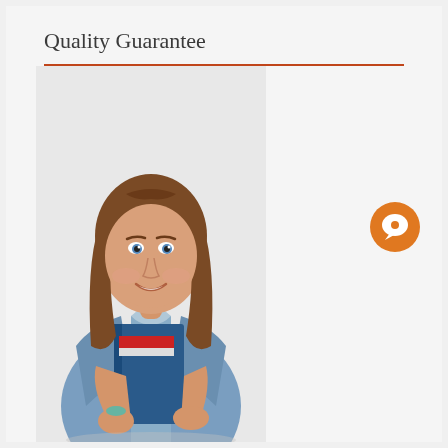Quality Guarantee
[Figure (photo): Young female student with long brown hair, wearing a denim jacket, smiling and holding a blue binder/folder with red and white stripes, against a light grey background.]
[Figure (other): Orange circular chat/message bubble icon]